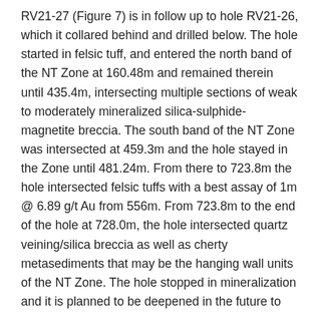RV21-27 (Figure 7) is in follow up to hole RV21-26, which it collared behind and drilled below. The hole started in felsic tuff, and entered the north band of the NT Zone at 160.48m and remained therein until 435.4m, intersecting multiple sections of weak to moderately mineralized silica-sulphide-magnetite breccia. The south band of the NT Zone was intersected at 459.3m and the hole stayed in the Zone until 481.24m. From there to 723.8m the hole intersected felsic tuffs with a best assay of 1m @ 6.89 g/t Au from 556m. From 723.8m to the end of the hole at 728.0m, the hole intersected quartz veining/silica breccia as well as cherty metasediments that may be the hanging wall units of the NT Zone. The hole stopped in mineralization and it is planned to be deepened in the future to test further at depth.
These three southerly holes encountered non-traditional stratigraphy (but the same rock types) showing that the NT Zone in this area is more complex than previously